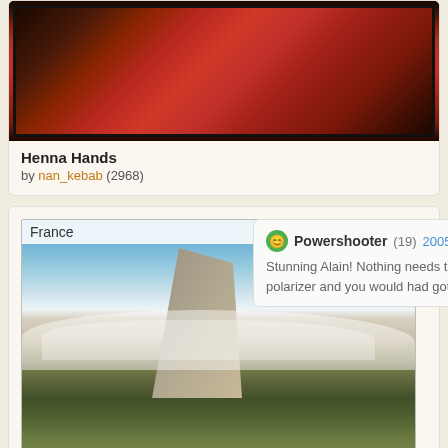[Figure (photo): Photo of henna-decorated hands on red background, partially cropped at top]
Henna Hands
by nan_kebab (2968)
[Figure (photo): Mountain landscape with clouds, labeled France]
Clouds
by alainh (33209)
Powershooter (19) 2005-09-... Stunning Alain! Nothing needs to be impr... polarizer and you would had got a even b...
Page: 1 2 ▶
explore TREKEARTH